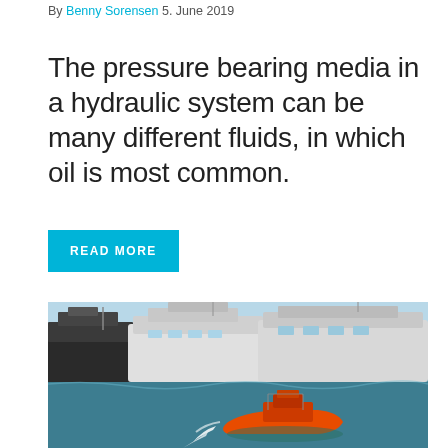By Benny Sorensen 5. June 2019
The pressure bearing media in a hydraulic system can be many different fluids, in which oil is most common.
READ MORE
[Figure (photo): An orange pilot/rescue boat speeding through a marina with large white luxury yachts moored in the background.]